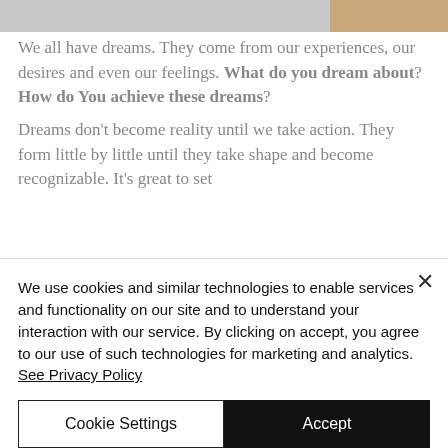[Figure (photo): Partial photo visible at the top of the page, cropped, showing a light gray and tan background]
We all have dreams. They come from our experiences, our desires and even our feelings. What do you dream about? How do You achieve these dreams? Dreams don't become reality until we take action. They form little by little until they take shape and become recognizable. It's great to set
We use cookies and similar technologies to enable services and functionality on our site and to understand your interaction with our service. By clicking on accept, you agree to our use of such technologies for marketing and analytics. See Privacy Policy